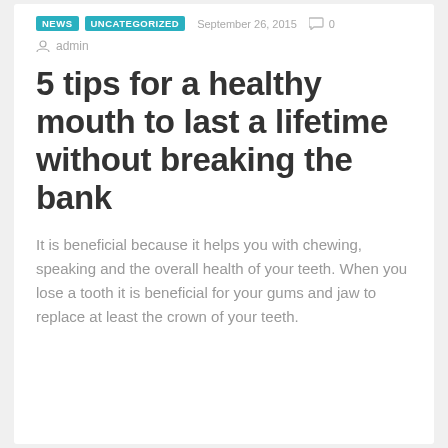NEWS  UNCATEGORIZED  September 26, 2015  0
admin
5 tips for a healthy mouth to last a lifetime without breaking the bank
It is beneficial because it helps you with chewing, speaking and the overall health of your teeth. When you lose a tooth it is beneficial for your gums and jaw to replace at least the crown of your teeth.